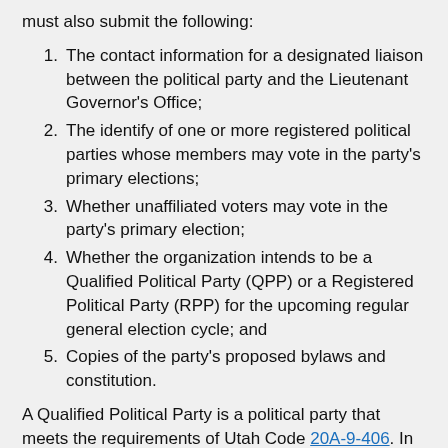must also submit the following:
The contact information for a designated liaison between the political party and the Lieutenant Governor's Office;
The identify of one or more registered political parties whose members may vote in the party's primary elections;
Whether unaffiliated voters may vote in the party's primary election;
Whether the organization intends to be a Qualified Political Party (QPP) or a Registered Political Party (RPP) for the upcoming regular general election cycle; and
Copies of the party's proposed bylaws and constitution.
A Qualified Political Party is a political party that meets the requirements of Utah Code 20A-9-406. In short, a Qualified Political Party allows its candidates to pursue the party’s nomination by